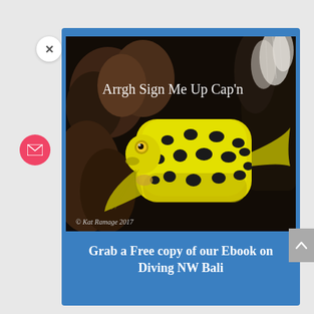[Figure (photo): Yellow boxfish with black spots photographed underwater against dark coral background, with text overlay 'Arrgh sign me up Cap'n' and watermark '© Kat Ramage 2017']
Grab a Free copy of our Ebook on Diving NW Bali